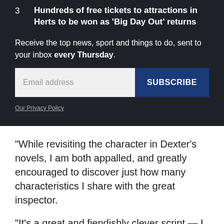3  Hundreds of free tickets to attractions in Herts to be won as 'Big Day Out' returns
Receive the top news, sport and things to do, sent to your inbox every Thursday.
Email address  SUBSCRIBE
Our Privacy Policy
“While revisiting the character in Dexter’s novels, I am both appalled, and greatly encouraged to discover just how many characteristics I share with the great inspector.
“It’s a great and fiendishly clever script — I simply can’t